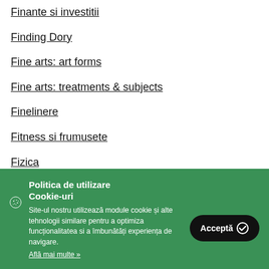Finante si investitii
Finding Dory
Fine arts: art forms
Fine arts: treatments & subjects
Finelinere
Fitness si frumusete
Fizica
Politica de utilizare Cookie-uri
Site-ul nostru utilizează module cookie și alte tehnologii similare pentru a optimiza funcționalitatea si a îmbunătăți experiența de navigare.
Află mai multe »